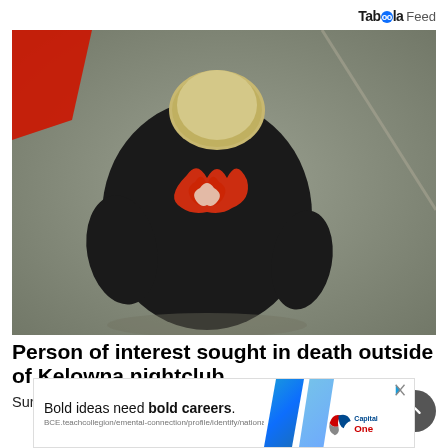Taboola Feed
[Figure (photo): Surveillance photo from overhead angle showing a person with short blonde/light hair wearing a black t-shirt with red/orange flame graphic design, viewed from above on a grey concrete surface]
Person of interest sought in death outside of Kelowna nightclub
Surveillance photos released by RCMPSurveillance photos
[Figure (screenshot): Capital One advertisement banner: 'Bold ideas need bold careers.' with blue geometric decorative elements and Capital One logo on the right]